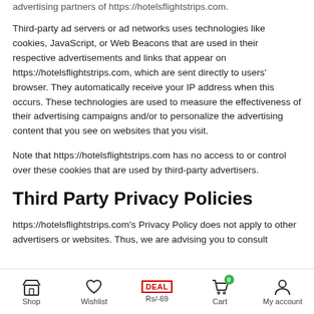advertising partners of https://hotelsflightstrips.com.
Third-party ad servers or ad networks uses technologies like cookies, JavaScript, or Web Beacons that are used in their respective advertisements and links that appear on https://hotelsflightstrips.com, which are sent directly to users' browser. They automatically receive your IP address when this occurs. These technologies are used to measure the effectiveness of their advertising campaigns and/or to personalize the advertising content that you see on websites that you visit.
Note that https://hotelsflightstrips.com has no access to or control over these cookies that are used by third-party advertisers.
Third Party Privacy Policies
https://hotelsflightstrips.com's Privacy Policy does not apply to other advertisers or websites. Thus, we are advising you to consult
Shop | Wishlist | Rs/-69 | Cart 0 | My account